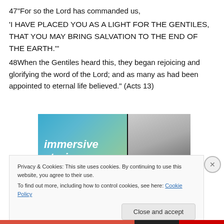47"For so the Lord has commanded us, 'I HAVE PLACED YOU AS A LIGHT FOR THE GENTILES, THAT YOU MAY BRING SALVATION TO THE END OF THE EARTH.'"
48When the Gentiles heard this, they began rejoicing and glorifying the word of the Lord; and as many as had been appointed to eternal life believed." (Acts 13)
[Figure (screenshot): Advertisement banner showing 'immersive stories.' text on a blue-green gradient background on the left, and a photo of a person in a yellow jacket near a waterfall on the right.]
Privacy & Cookies: This site uses cookies. By continuing to use this website, you agree to their use.
To find out more, including how to control cookies, see here: Cookie Policy
Close and accept